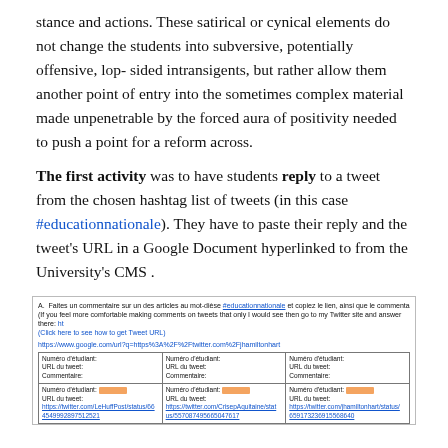stance and actions. These satirical or cynical elements do not change the students into subversive, potentially offensive, lop-sided intransigents, but rather allow them another point of entry into the sometimes complex material made unpenetrable by the forced aura of positivity needed to push a point for a reform across.
The first activity was to have students reply to a tweet from the chosen hashtag list of tweets (in this case #educationnationale). They have to paste their reply and the tweet's URL in a Google Document hyperlinked to from the University's CMS .
[Figure (screenshot): Screenshot of a Google Document table with instructions in French for students to comment on tweets using the hashtag #educationnationale. The table has columns for student number (Numéro d'étudiant), tweet URL (URL du tweet), and commentary (Commentaire), with two rows: one blank and one partially filled with redacted student numbers and hyperlinked tweet URLs.]